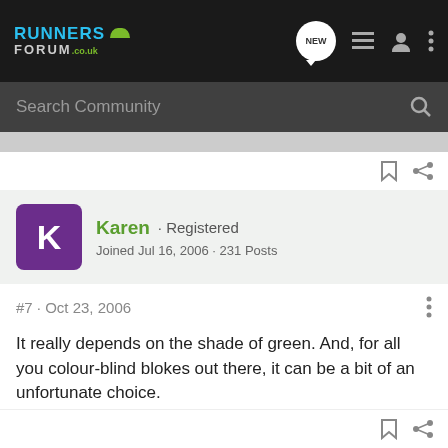[Figure (screenshot): Runners Forum .co.uk logo in top navigation bar]
Search Community
Karen · Registered
Joined Jul 16, 2006 · 231 Posts
#7 · Oct 23, 2006
It really depends on the shade of green. And, for all you colour-blind blokes out there, it can be a bit of an unfortunate choice.